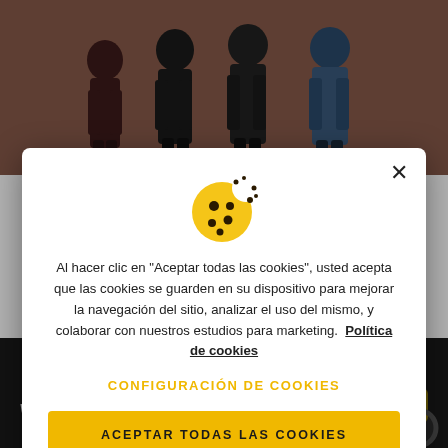[Figure (photo): Background photo of four people standing in front of a brick wall, partially visible behind the modal overlay.]
[Figure (illustration): Cookie icon — yellow cookie with black chocolate chips and dots, slightly bitten corner.]
Al hacer clic en “Aceptar todas las cookies”, usted acepta que las cookies se guarden en su dispositivo para mejorar la navegación del sitio, analizar el uso del mismo, y colaborar con nuestros estudios para marketing.  Política de cookies
CONFIGURACIÓN DE COOKIES
ACEPTAR TODAS LAS COOKIES
Virtual road trip